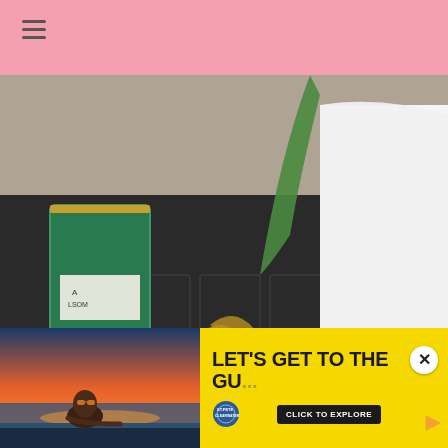[Figure (photo): Close-up photo of decorative home items on a black hexagonal tile surface: a green glass candle holder with white label, a clear glass candlestick with a blue and white decorative ball on top, a large white ceramic vase/urn, gold metallic pumpkin and leaf decorations on a gold dotted tray.]
[Figure (photo): Advertisement banner with yellow background. Left side shows a woman with sunglasses lying at a pool edge at sunset. Right side shows bold text 'LET'S GET TO THE GU...' with a St. Pete Clearwater logo and a 'CLICK TO EXPLORE' button. A close (X) button appears in the top right. A small play/arrow icon appears at the bottom right.]